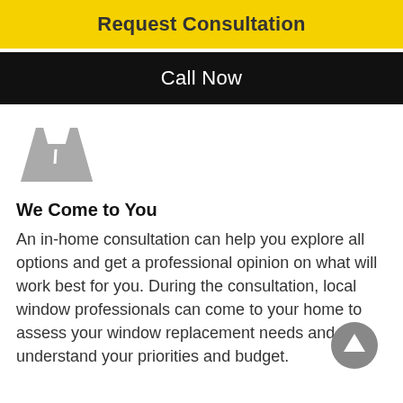Request Consultation
Call Now
[Figure (illustration): Gray road/highway icon]
We Come to You
An in-home consultation can help you explore all options and get a professional opinion on what will work best for you. During the consultation, local window professionals can come to your home to assess your window replacement needs and understand your priorities and budget.